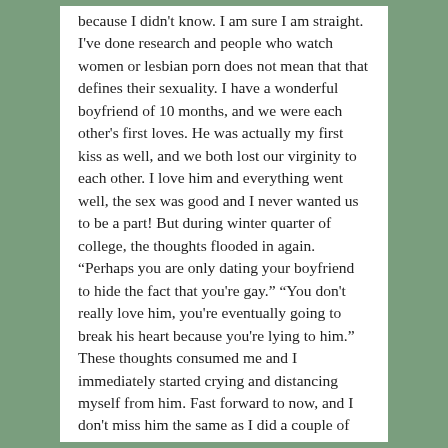because I didn't know. I am sure I am straight. I've done research and people who watch women or lesbian porn does not mean that that defines their sexuality. I have a wonderful boyfriend of 10 months, and we were each other's first loves. He was actually my first kiss as well, and we both lost our virginity to each other. I love him and everything went well, the sex was good and I never wanted us to be a part! But during winter quarter of college, the thoughts flooded in again. “Perhaps you are only dating your boyfriend to hide the fact that you're gay.” “You don't really love him, you're eventually going to break his heart because you're lying to him.” These thoughts consumed me and I immediately started crying and distancing myself from him. Fast forward to now, and I don't miss him the same as I did a couple of weeks ago. I know I love him, but with these thoughts and anxiety it's hard. I went to therapy during school and my therapist said based on all my explanations I sound straight